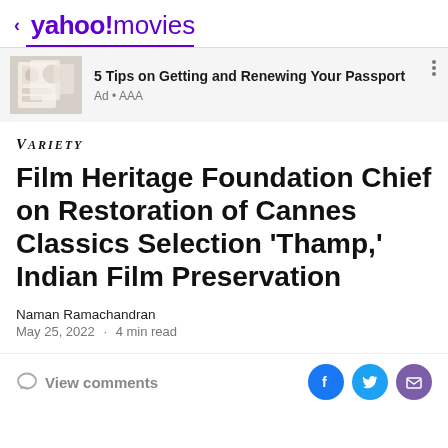< yahoo!movies
[Figure (photo): Advertisement thumbnail showing passport pages with stamps]
5 Tips on Getting and Renewing Your Passport
Ad • AAA
[Figure (logo): VARIETY magazine logo in italic small-caps]
Film Heritage Foundation Chief on Restoration of Cannes Classics Selection 'Thamp,' Indian Film Preservation
Naman Ramachandran
May 25, 2022  ·  4 min read
View comments